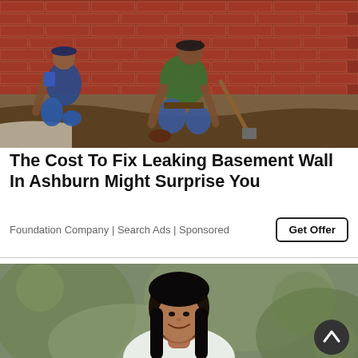[Figure (photo): Two workers kneeling and working on a foundation excavation beside a red brick wall. Dirt is dug out at the base of the wall.]
The Cost To Fix Leaking Basement Wall In Ashburn Might Surprise You
Foundation Company | Search Ads | Sponsored
[Figure (photo): A smiling young woman with long dark hair, outdoors with a blurred green background. A back-to-top circular button is visible in the lower right corner.]